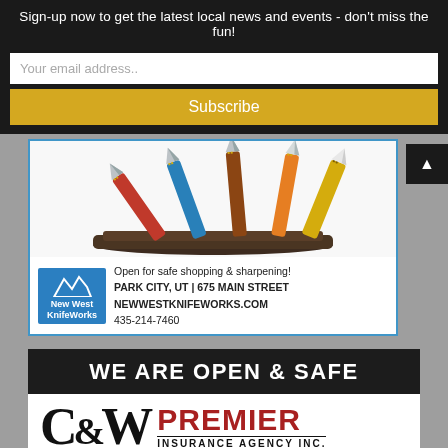Sign-up now to get the latest local news and events - don't miss the fun!
Your email address..
Subscribe
[Figure (photo): A set of colorful handled kitchen knives displayed in a magnetic knife block on a dark wooden base]
Open for safe shopping & sharpening!
PARK CITY, UT | 675 MAIN STREET
NEWWESTKNIFEWORKS.COM
435-214-7460
[Figure (logo): New West KnifeWorks logo - blue square with white mountain peaks]
WE ARE OPEN & SAFE
[Figure (logo): C&W Premier Insurance Agency Inc. logo]
INDEPENDENT AGENCY